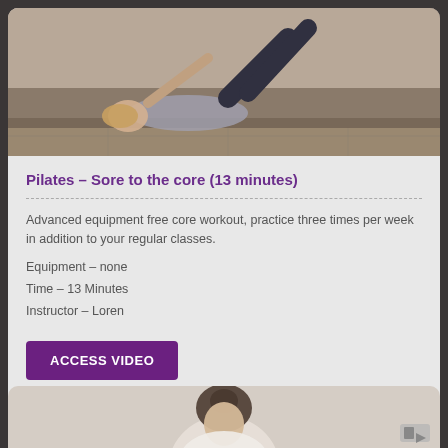[Figure (photo): Woman doing pilates core exercise on floor, lying on back with legs raised]
Pilates – Sore to the core (13 minutes)
Advanced equipment free core workout, practice three times per week in addition to your regular classes.
Equipment – none
Time – 13 Minutes
Instructor – Loren
ACCESS VIDEO
[Figure (photo): Woman in white top, partially visible at bottom of page]